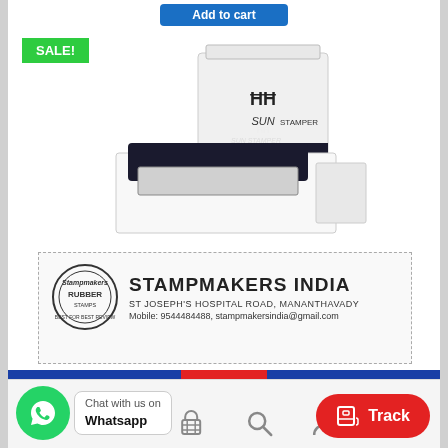[Figure (photo): Product photo of SUN Stamper self-inking stamp with SALE! badge. Two white stamp units shown, one upright and one opened revealing the stamp pad. Below the stamp is a sample impression showing Stampmakers India logo and contact details.]
SALE!
STAMPMAKERS INDIA
ST JOSEPH'S HOSPITAL ROAD, MANANTHAVADY
Mobile: 9544484488, stampmakersindia@gmail.com
Chat with us on
Whatsapp
Track